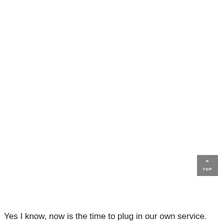[Figure (screenshot): A grey 'back to top' button with an upward chevron arrow and the text 'TOP', positioned in the bottom-right area of the page.]
Yes I know, now is the time to plug in our own service.